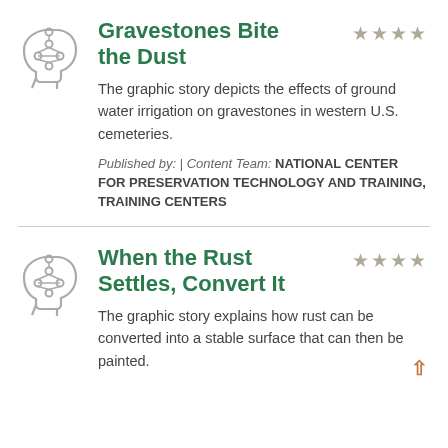[Figure (illustration): Icon of a human head profile with a network/brain diagram inside, gray outline style]
Gravestones Bite the Dust
★★★★ (4 stars rating)
The graphic story depicts the effects of ground water irrigation on gravestones in western U.S. cemeteries.
Published by: | Content Team: NATIONAL CENTER FOR PRESERVATION TECHNOLOGY AND TRAINING, TRAINING CENTERS
[Figure (illustration): Icon of a human head profile with a network/brain diagram inside, gray outline style]
When the Rust Settles, Convert It
★★★★ (4 stars rating)
The graphic story explains how rust can be converted into a stable surface that can then be painted.